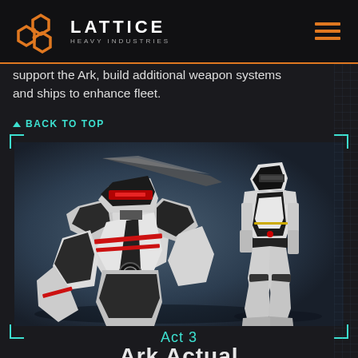LATTICE HEAVY INDUSTRIES
support the Ark, build additional weapon systems and ships to enhance fleet.
▲ BACK TO TOP
[Figure (illustration): 3D rendered image of two sci-fi armored robot/mech characters. The left figure is a large, heavily armored white and black mech with red accents and a circular emblem on its chest, shown in close-up from the front-left. The right figure is a slimmer white armored humanoid mech holding a blade/sword, shown full-body from behind-right. Background is dark blue-grey gradient.]
Act 3
Ark Actual